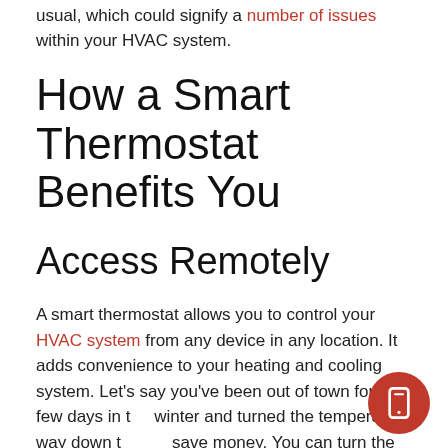usual, which could signify a number of issues within your HVAC system.
How a Smart Thermostat Benefits You
Access Remotely
A smart thermostat allows you to control your HVAC system from any device in any location. It adds convenience to your heating and cooling system. Let’s say you’ve been out of town for a few days in the winter and turned the temperature way down to save money. You can turn the system back up from your